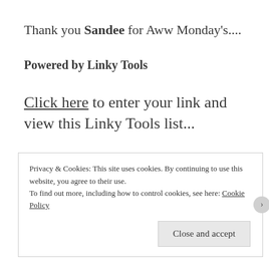Thank you Sandee for Aww Monday's....
Powered by Linky Tools
Click here to enter your link and view this Linky Tools list...
Privacy & Cookies: This site uses cookies. By continuing to use this website, you agree to their use.
To find out more, including how to control cookies, see here: Cookie Policy
Close and accept